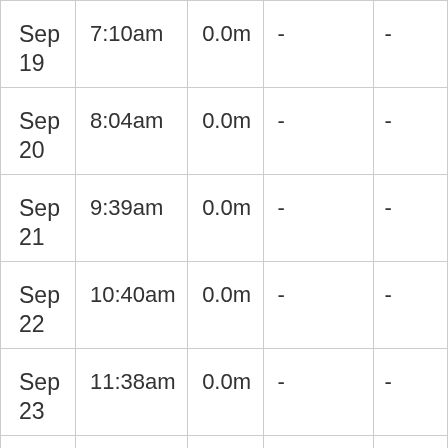| Sep
19 | 7:10am | 0.0m | - | - |
| Sep
20 | 8:04am | 0.0m | - | - |
| Sep
21 | 9:39am | 0.0m | - | - |
| Sep
22 | 10:40am | 0.0m | - | - |
| Sep
23 | 11:38am | 0.0m | - | - |
| Sep
24 | 3:53am | 0.1m | 12:37pm | 0.0(truncated) |